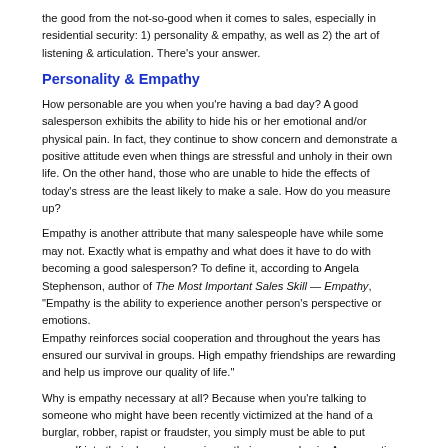the good from the not-so-good when it comes to sales, especially in residential security: 1) personality & empathy, as well as 2) the art of listening & articulation. There's your answer.
Personality & Empathy
How personable are you when you're having a bad day? A good salesperson exhibits the ability to hide his or her emotional and/or physical pain. In fact, they continue to show concern and demonstrate a positive attitude even when things are stressful and unholy in their own life. On the other hand, those who are unable to hide the effects of today's stress are the least likely to make a sale. How do you measure up?
Empathy is another attribute that many salespeople have while some may not. Exactly what is empathy and what does it have to do with becoming a good salesperson? To define it, according to Angela Stephenson, author of The Most Important Sales Skill — Empathy, "Empathy is the ability to experience another person's perspective or emotions.
Empathy reinforces social cooperation and throughout the years has ensured our survival in groups. High empathy friendships are rewarding and help us improve our quality of life."
Why is empathy necessary at all? Because when you're talking to someone who might have been recently victimized at the hand of a burglar, robber, rapist or fraudster, you simply must be able to put yourself into their shoes to experience their personal pain. A prospective buyer knows if you understand what they're going through or not and it's the one who routinely walks away with the sale.